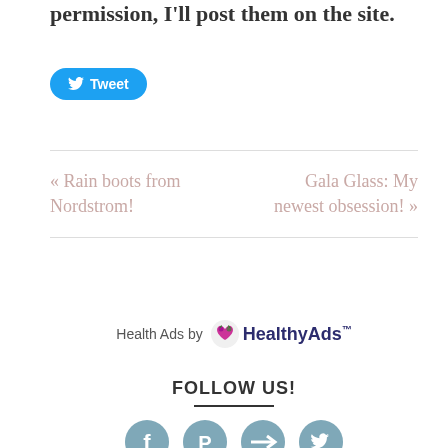permission, I'll post them on the site.
[Figure (other): Twitter Tweet button with bird icon on blue rounded rectangle background]
« Rain boots from Nordstrom!
Gala Glass: My newest obsession! »
[Figure (logo): HealthyAds logo with heart icon. Text reads: Health Ads by HealthyAds with trademark symbol]
FOLLOW US!
[Figure (other): Four circular social media icons (Facebook, Pinterest, email/arrow, Twitter) in muted teal/gray color, partially visible at bottom of page]